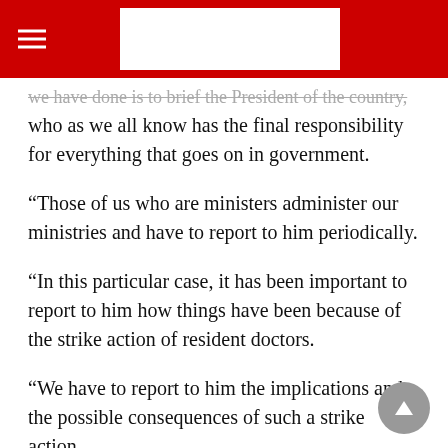we have done is to brief the President of the country, who as we all know has the final responsibility for everything that goes on in government.
“Those of us who are ministers administer our ministries and have to report to him periodically.
“In this particular case, it has been important to report to him how things have been because of the strike action of resident doctors.
“We have to report to him the implications and the possible consequences of such a strike action.